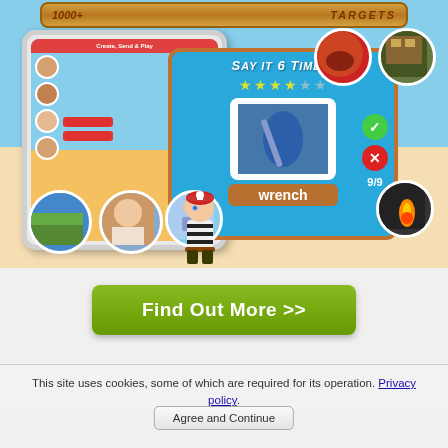[Figure (screenshot): App screenshot showing a speech therapy/language learning game with a pirate theme. Shows an iPad with letter selection interface and a game panel saying 'Say it 6 times!' with stars, a wrench image, pirate character, score 9/9, and check/X buttons. Surrounding the tablet are circular photo thumbnails (apple, bench, flame, landscape, people). A decorative scroll banner at top reads '1000+ TARGETS'.]
[Figure (other): Green button with white bold text reading 'Find Out More >>']
This site uses cookies, some of which are required for its operation. Privacy policy.
Agree and Continue